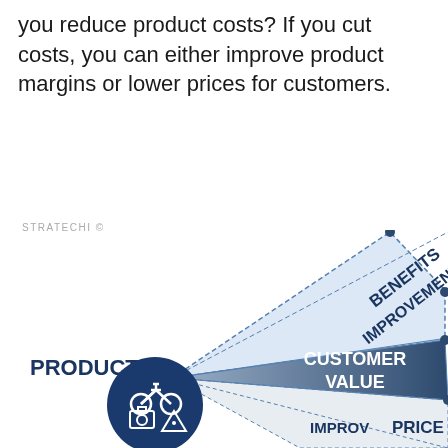you reduce product costs? If you cut costs, you can either improve product margins or lower prices for customers.
[Figure (infographic): Fan/sector diagram showing PRODUCTS label on the left with a circular icon containing bicycle, camera and pizza slice icons. Three sectors fan out to the right: top sector labeled BENEFITS IMPROVEMENT (light blue, dashed border), middle sector labeled CUSTOMER VALUE (dark blue/gray), and bottom sector partially visible labeled IMPROVEMENT PRICE.]